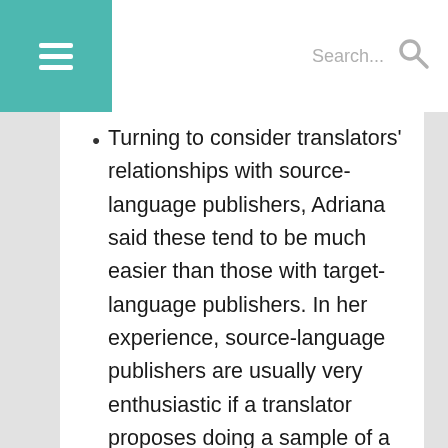≡  Search...
Turning to consider translators' relationships with source-language publishers, Adriana said these tend to be much easier than those with target-language publishers. In her experience, source-language publishers are usually very enthusiastic if a translator proposes doing a sample of a work for them with a view to pitching to UK publishers (thereby offering the source-language publisher a possible way into the coveted UK market). However, Adriana did acknowledge that having a proven translator track